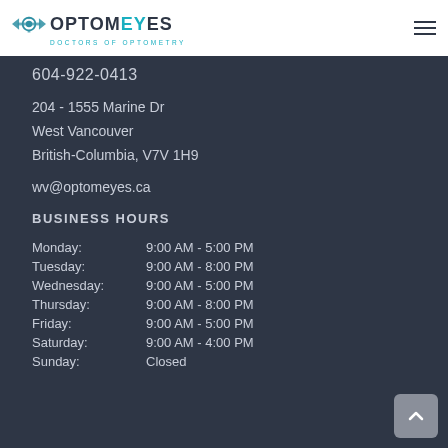[Figure (logo): OptomEyes Doctors of Optometry logo with eye icon]
604-922-0413
204 - 1555 Marine Dr
West Vancouver
British-Columbia, V7V 1H9
wv@optomeyes.ca
BUSINESS HOURS
| Day | Hours |
| --- | --- |
| Monday: | 9:00 AM - 5:00 PM |
| Tuesday: | 9:00 AM - 8:00 PM |
| Wednesday: | 9:00 AM - 5:00 PM |
| Thursday: | 9:00 AM - 8:00 PM |
| Friday: | 9:00 AM - 5:00 PM |
| Saturday: | 9:00 AM - 4:00 PM |
| Sunday: | Closed |